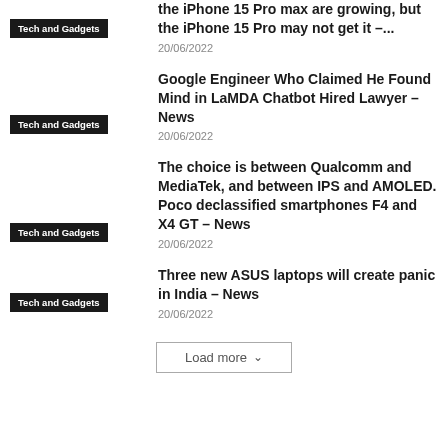the iPhone 15 Pro max are growing, but the iPhone 15 Pro may not get it –...
20/06/2022
Tech and Gadgets
Google Engineer Who Claimed He Found Mind in LaMDA Chatbot Hired Lawyer – News
20/06/2022
Tech and Gadgets
The choice is between Qualcomm and MediaTek, and between IPS and AMOLED. Poco declassified smartphones F4 and X4 GT – News
20/06/2022
Tech and Gadgets
Three new ASUS laptops will create panic in India – News
20/06/2022
Tech and Gadgets
Load more